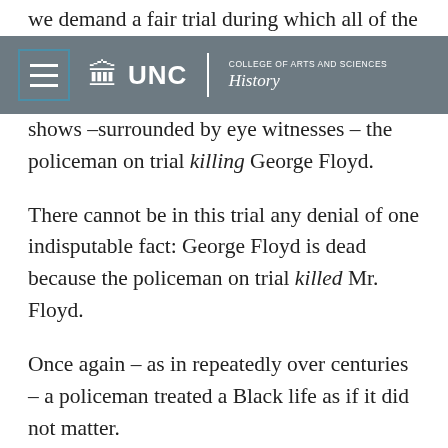we demand a fair trial during which all of the ideas will be presented
UNC | College of Arts and Sciences | History
shows –surrounded by eye witnesses – the policeman on trial killing George Floyd.
There cannot be in this trial any denial of one indisputable fact: George Floyd is dead because the policeman on trial killed Mr. Floyd.
Once again – as in repeatedly over centuries – a policeman treated a Black life as if it did not matter.
With multitudes of persons who know Black people are human beings, not animals, and
with many of every race and color who know that in the United States there is a history of those in power